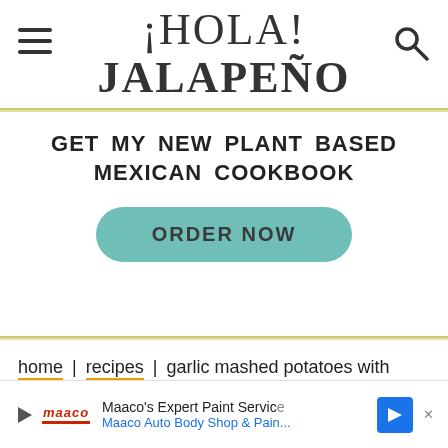¡HOLA! JALAPEÑO
GET MY NEW PLANT BASED MEXICAN COOKBOOK
ORDER NOW
home | recipes | garlic mashed potatoes with spanish chorizo and poblanos
Maaco's Expert Paint Service Maaco Auto Body Shop & Pain...